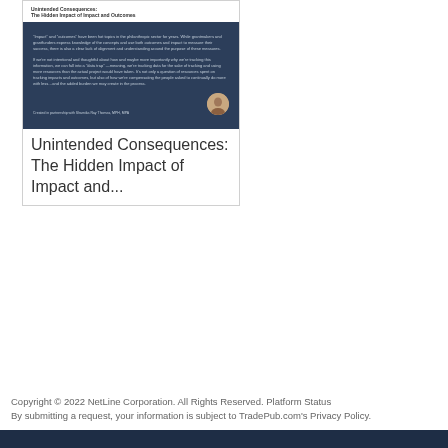[Figure (illustration): Book cover preview card for 'Unintended Consequences: The Hidden Impact of Impact and Outcomes' showing a dark navy cover with text excerpt and author photo, inside a white card frame with the book title repeated below the cover image.]
Unintended Consequences: The Hidden Impact of Impact and...
Copyright © 2022 NetLine Corporation. All Rights Reserved. Platform Status By submitting a request, your information is subject to TradePub.com's Privacy Policy.